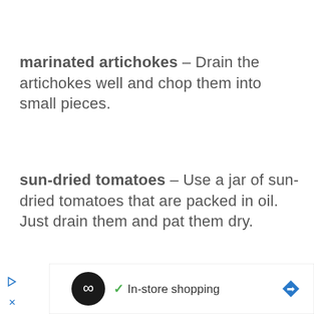marinated artichokes – Drain the artichokes well and chop them into small pieces.
sun-dried tomatoes – Use a jar of sun-dried tomatoes that are packed in oil. Just drain them and pat them dry.
[Figure (other): Advertisement bar with a black circle logo containing infinity-like symbol, a green checkmark, 'In-store shopping' text, and a blue diamond arrow icon]